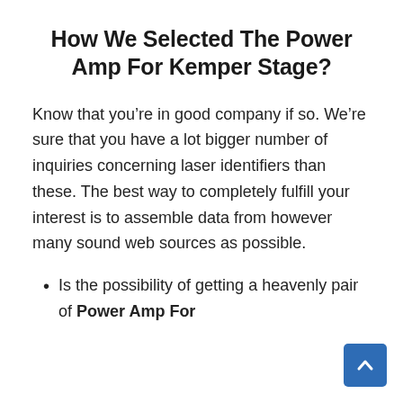How We Selected The Power Amp For Kemper Stage?
Know that you’re in good company if so. We’re sure that you have a lot bigger number of inquiries concerning laser identifiers than these. The best way to completely fulfill your interest is to assemble data from however many sound web sources as possible.
Is the possibility of getting a heavenly pair of Power Amp For
[Figure (other): Blue scroll-to-top button with upward chevron arrow in bottom-right corner]